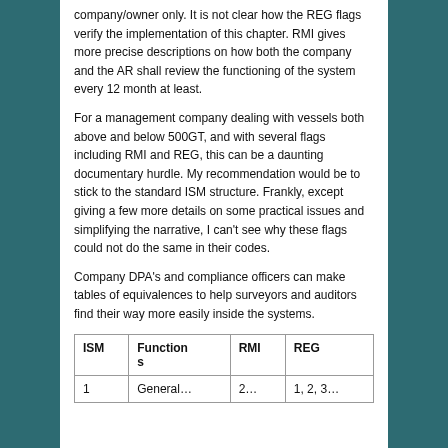company/owner only. It is not clear how the REG flags verify the implementation of this chapter. RMI gives more precise descriptions on how both the company and the AR shall review the functioning of the system every 12 month at least.
For a management company dealing with vessels both above and below 500GT, and with several flags including RMI and REG, this can be a daunting documentary hurdle. My recommendation would be to stick to the standard ISM structure. Frankly, except giving a few more details on some practical issues and simplifying the narrative, I can't see why these flags could not do the same in their codes.
Company DPA's and compliance officers can make tables of equivalences to help surveyors and auditors find their way more easily inside the systems.
| ISM | Functions | RMI | REG |
| --- | --- | --- | --- |
| 1 | General... | 2... | 1, 2, 3... |